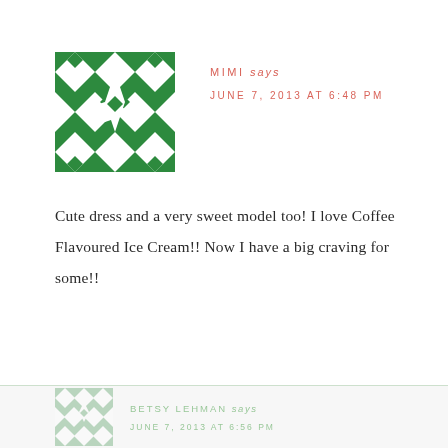[Figure (illustration): Green geometric avatar icon with diamond/star pattern on white background]
MIMI says
JUNE 7, 2013 AT 6:48 PM
Cute dress and a very sweet model too! I love Coffee Flavoured Ice Cream!! Now I have a big craving for some!!
[Figure (illustration): Light green geometric avatar icon (partially visible, faded) - next commenter Betsy Lehman]
BETSY LEHMAN says
JUNE 7, 2013 AT 6:56 PM